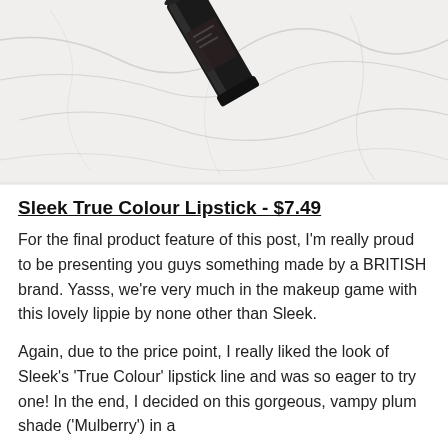[Figure (photo): A dark/black cylindrical lipstick tube lying on a white marble surface with grey veining. The cap of the lipstick is visible at the top. Photo is in black and white tones.]
Sleek True Colour Lipstick - $7.49
For the final product feature of this post, I'm really proud to be presenting you guys something made by a BRITISH brand. Yasss, we're very much in the makeup game with this lovely lippie by none other than Sleek.
Again, due to the price point, I really liked the look of Sleek's 'True Colour' lipstick line and was so eager to try one! In the end, I decided on this gorgeous, vampy plum shade ('Mulberry') in a